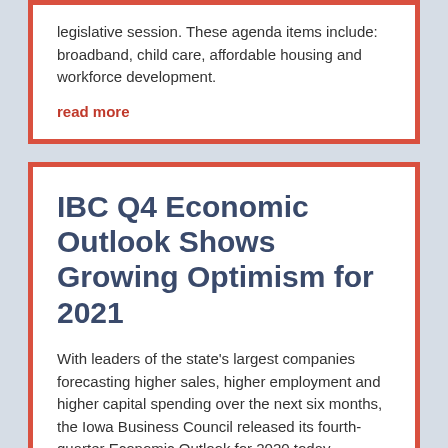legislative session. These agenda items include: broadband, child care, affordable housing and workforce development.
read more
IBC Q4 Economic Outlook Shows Growing Optimism for 2021
With leaders of the state's largest companies forecasting higher sales, higher employment and higher capital spending over the next six months, the Iowa Business Council released its fourth-quarter Economic Outlook for 2020 today, showing growing positive sentiment among its members.